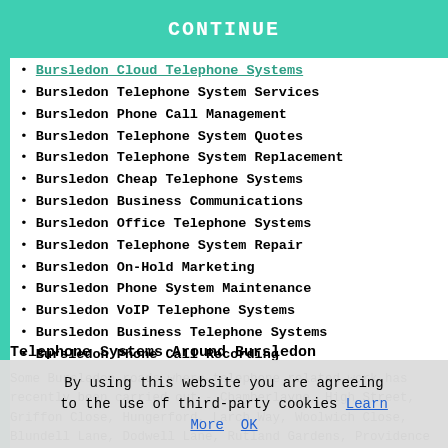[Figure (other): Green CONTINUE button bar at top]
Bursledon Cloud Telephone Systems
Bursledon Telephone System Services
Bursledon Phone Call Management
Bursledon Telephone System Quotes
Bursledon Telephone System Replacement
Bursledon Cheap Telephone Systems
Bursledon Business Communications
Bursledon Office Telephone Systems
Bursledon Telephone System Repair
Bursledon On-Hold Marketing
Bursledon Phone System Maintenance
Bursledon VoIP Telephone Systems
Bursledon Business Telephone Systems
Bursledon Phone Call Recording
Telephone Systems Around Bursledon
Some Bursledon roads where telephone related work has recently been carried out - Chamberlayne, High Street, Griffon Close, Hungerford, Larch Way, Woolwich Close, Blundell Lane, Dodwell Lane, Rutland Gardens, Providence Hill, Portsmouth Road, The Kestrels, Ravenscroft Close
By using this website you are agreeing to the use of third-party cookies Learn More OK